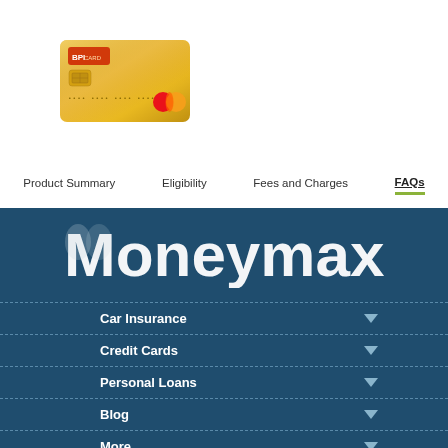[Figure (photo): BPI gold credit card image thumbnail]
Product Summary | Eligibility | Fees and Charges | FAQs
[Figure (logo): Moneymax logo in white on dark teal background]
Car Insurance
Credit Cards
Personal Loans
Blog
More